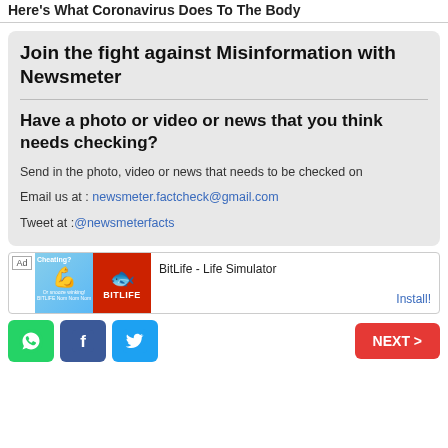Here's What Coronavirus Does To The Body
Join the fight against Misinformation with Newsmeter
Have a photo or video or news that you think needs checking?
Send in the photo, video or news that needs to be checked on
Email us at : newsmeter.factcheck@gmail.com
Tweet at :@newsmeterfacts
[Figure (screenshot): Advertisement banner for BitLife - Life Simulator app with colorful imagery and Install button]
BitLife - Life Simulator
Install!